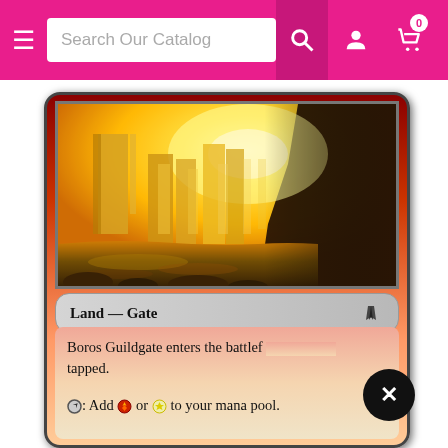Search Our Catalog
[Figure (illustration): Magic: The Gathering card — Boros Guildgate. Screenshot of a card catalog website showing a MTG card with golden glowing gate artwork, type line 'Land — Gate', and rules text: 'Boros Guildgate enters the battlefield tapped. {T}: Add {R} or {W} to your mana pool.']
Land — Gate
Boros Guildgate enters the battlefield tapped.
{T}: Add {R} or {W} to your mana pool.